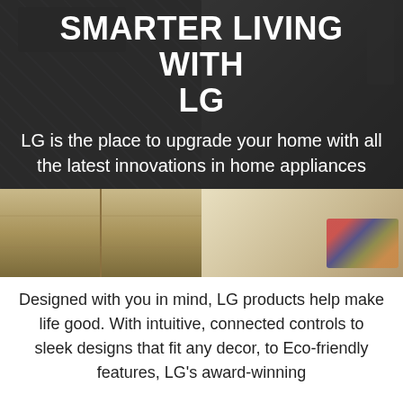[Figure (photo): A collage of four kitchen/home interior photos arranged in a 2x2 grid. Top-left shows dark kitchen cabinets with a tiled backsplash. Top-right shows a kitchen with stainless steel appliances. Bottom-left shows light wood cabinetry. Bottom-right shows a hallway/room floor with a decorative rug.]
SMARTER LIVING WITH LG
LG is the place to upgrade your home with all the latest innovations in home appliances
Designed with you in mind, LG products help make life good. With intuitive, connected controls to sleek designs that fit any decor, to Eco-friendly features, LG's award-winning